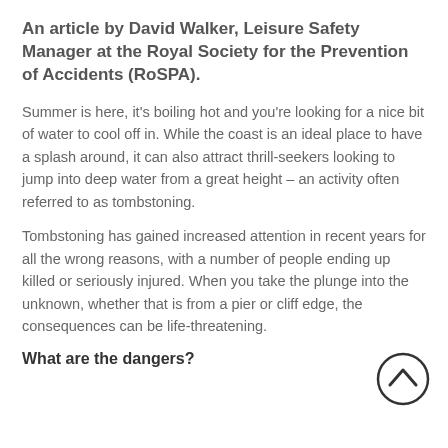An article by David Walker, Leisure Safety Manager at the Royal Society for the Prevention of Accidents (RoSPA).
Summer is here, it's boiling hot and you're looking for a nice bit of water to cool off in. While the coast is an ideal place to have a splash around, it can also attract thrill-seekers looking to jump into deep water from a great height – an activity often referred to as tombstoning.
Tombstoning has gained increased attention in recent years for all the wrong reasons, with a number of people ending up killed or seriously injured. When you take the plunge into the unknown, whether that is from a pier or cliff edge, the consequences can be life-threatening.
What are the dangers?